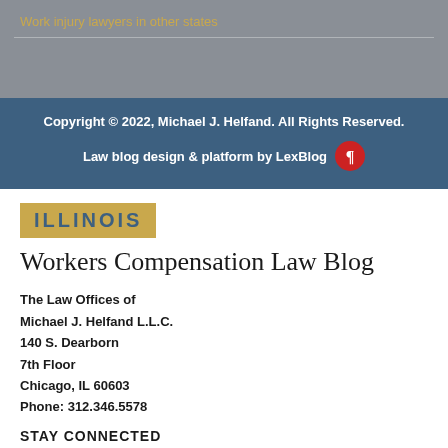Work injury lawyers in other states
Copyright © 2022, Michael J. Helfand. All Rights Reserved.
Law blog design & platform by LexBlog
[Figure (logo): Illinois badge with yellow background and blue bold text reading ILLINOIS]
Workers Compensation Law Blog
The Law Offices of Michael J. Helfand L.L.C.
140 S. Dearborn
7th Floor
Chicago, IL 60603
Phone: 312.346.5578
STAY CONNECTED